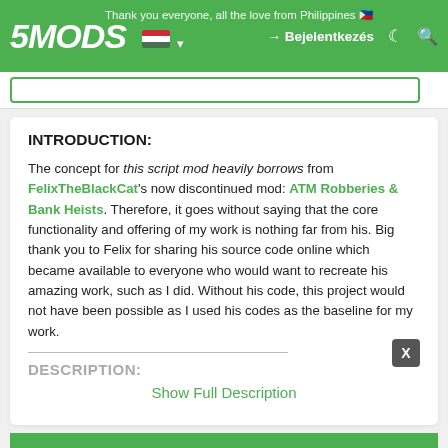5MODS | Thank you everyone, all the love from Philippines 🇵🇭 | Bejelentkezés
INTRODUCTION:
The concept for this script mod heavily borrows from FelixTheBlackCat's now discontinued mod: ATM Robberies & Bank Heists. Therefore, it goes without saying that the core functionality and offering of my work is nothing far from his. Big thank you to Felix for sharing his source code online which became available to everyone who would want to recreate his amazing work, such as I did. Without his code, this project would not have been possible as I used his codes as the baseline for my work.
DESCRIPTION:
Show Full Description